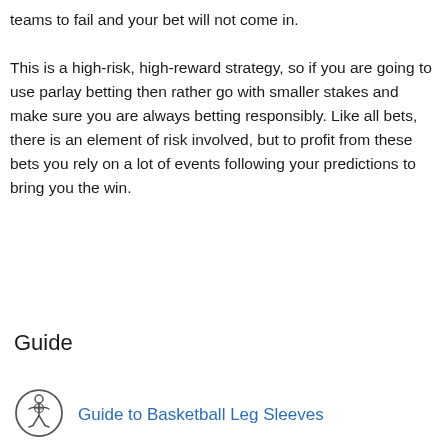teams to fail and your bet will not come in.

This is a high-risk, high-reward strategy, so if you are going to use parlay betting then rather go with smaller stakes and make sure you are always betting responsibly. Like all bets, there is an element of risk involved, but to profit from these bets you rely on a lot of events following your predictions to bring you the win.
Guide
[Figure (illustration): Basketball player icon in a circular frame, outline style]
Guide to Basketball Leg Sleeves